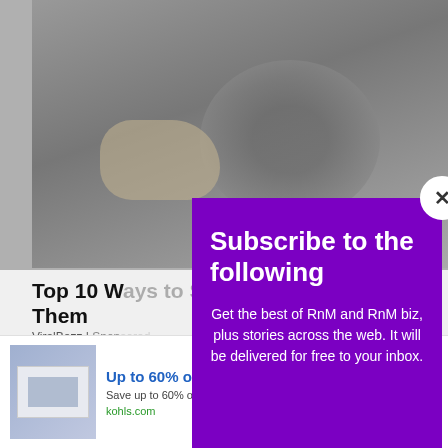[Figure (screenshot): Background webpage showing article with image of hands/cat and partial article title 'Top 10 W...u Love Them', with ViralBezz sponsored label and Learn More button]
[Figure (screenshot): Purple modal popup: 'Subscribe to the following' with body text 'Get the best of RnM and RnM biz, plus stories across the web. It will be delivered for free to your inbox.' Email input field and SUBSCRIBE button. Close button (x) in top right corner.]
[Figure (screenshot): Advertisement banner: 'Up to 60% off Clothing at Kohl's' with description 'Save up to 60% on clothing and homeware at Kohl's.com', URL kohls.com, arrow button, and ad image on left.]